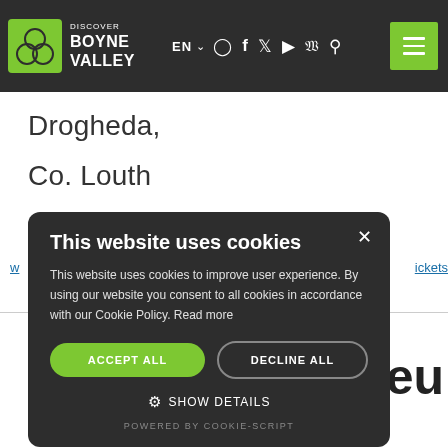[Figure (logo): Discover Boyne Valley logo with green trefoil symbol and navigation icons in dark header bar]
Drogheda,
Co. Louth
ickets
eu
This website uses cookies
This website uses cookies to improve user experience. By using our website you consent to all cookies in accordance with our Cookie Policy. Read more
ACCEPT ALL
DECLINE ALL
SHOW DETAILS
POWERED BY COOKIE-SCRIPT